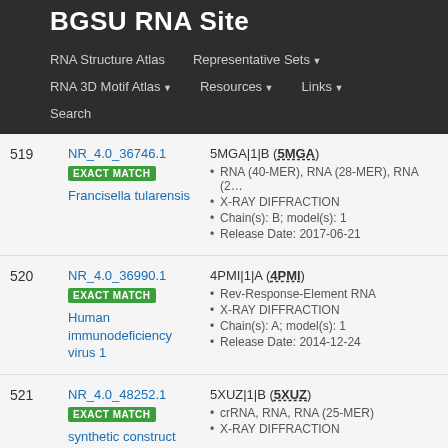BGSU RNA Site
RNA Structure Atlas | Representative Sets | RNA 3D Motif Atlas | Resources | Links | Search
| # | ID / Organism | PDB Entry Details |
| --- | --- | --- |
| 519 | NR_4.0_36746.1 EXACT MATCH Francisella tularensis | 5MGA|1|B (5MGA)
• RNA (40-MER), RNA (28-MER), RNA (2
• X-RAY DIFFRACTION
• Chain(s): B; model(s): 1
• Release Date: 2017-06-21 |
| 520 | NR_4.0_36990.1 EXACT MATCH Human immunodeficiency virus 1 | 4PMI|1|A (4PMI)
• Rev-Response-Element RNA
• X-RAY DIFFRACTION
• Chain(s): A; model(s): 1
• Release Date: 2014-12-24 |
| 521 | NR_4.0_48252.1 EXACT MATCH synthetic construct | 5XUZ|1|B (5XUZ)
• crRNA, RNA, RNA (25-MER)
• X-RAY DIFFRACTION |